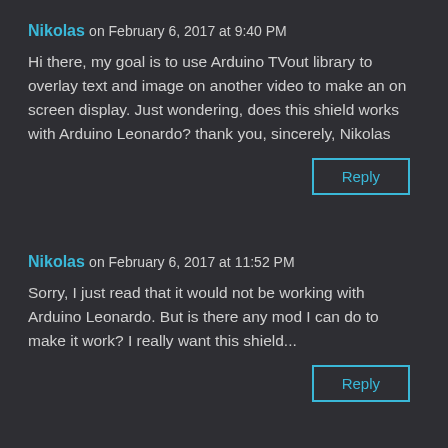Nikolas on February 6, 2017 at 9:40 PM
Hi there, my goal is to use Arduino TVout library to overlay text and image on another video to make an on screen display. Just wondering, does this shield works with Arduino Leonardo? thank you, sincerely, Nikolas
Reply
Nikolas on February 6, 2017 at 11:52 PM
Sorry, I just read that it would not be working with Arduino Leonardo. But is there any mod I can do to make it work? I really want this shield...
Reply